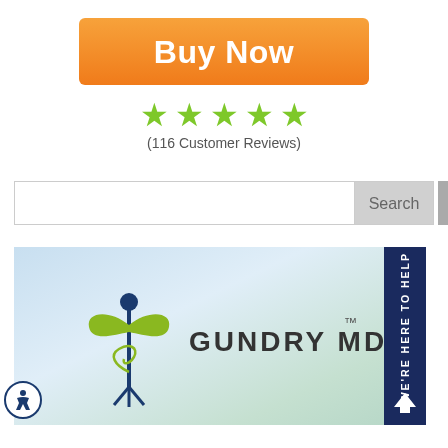[Figure (other): Orange 'Buy Now' button]
[Figure (other): Five green stars rating with '(116 Customer Reviews)' text below]
[Figure (other): Search input field with Search button and scroll-up arrow button]
[Figure (logo): Gundry MD logo on a light blue/green gradient background, with a caduceus-style plant icon and 'GUNDRY MD' text with TM mark. A dark navy blue sidebar tab on the right reads 'WE'RE HERE TO HELP' vertically with an arrow.]